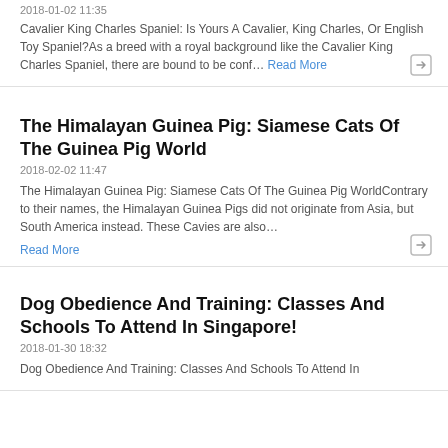Cavalier King Charles Spaniel: Is Yours A Cavalier, King Charles, Or English Toy Spaniel?As a breed with a royal background like the Cavalier King Charles Spaniel, there are bound to be conf… Read More
The Himalayan Guinea Pig: Siamese Cats Of The Guinea Pig World
2018-02-02 11:47
The Himalayan Guinea Pig: Siamese Cats Of The Guinea Pig WorldContrary to their names, the Himalayan Guinea Pigs did not originate from Asia, but South America instead. These Cavies are also… Read More
Dog Obedience And Training: Classes And Schools To Attend In Singapore!
2018-01-30 18:32
Dog Obedience And Training: Classes And Schools To Attend In